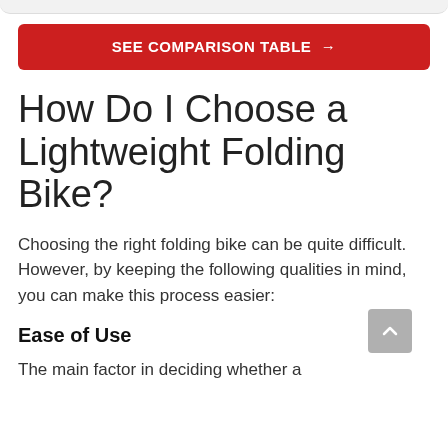[Figure (other): Red button with white bold text: SEE COMPARISON TABLE →]
How Do I Choose a Lightweight Folding Bike?
Choosing the right folding bike can be quite difficult. However, by keeping the following qualities in mind, you can make this process easier:
Ease of Use
The main factor in deciding whether a